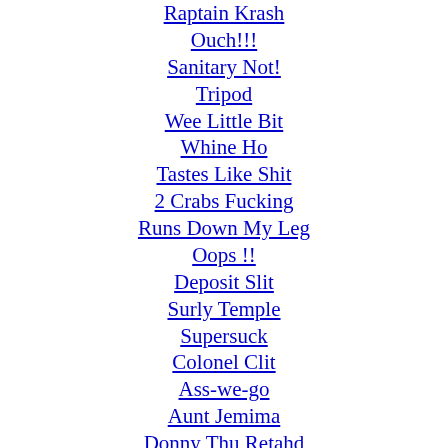Raptain Krash
Ouch!!!
Sanitary Not!
Tripod
Wee Little Bit
Whine Ho
Tastes Like Shit
2 Crabs Fucking
Runs Down My Leg
Oops !!
Deposit Slit
Surly Temple
Supersuck
Colonel Clit
Ass-we-go
Aunt Jemima
Donny Thu Retahd
Piggy's Bitch
Bone Hole
Front End Loader
House Of Boobs
Yeaster Bunny
Urine Development
General Erectdict
Blue Ball Special
Cum On Down
LuvBug69
Rojo Ho (PL)
Circumpsyche (PL)